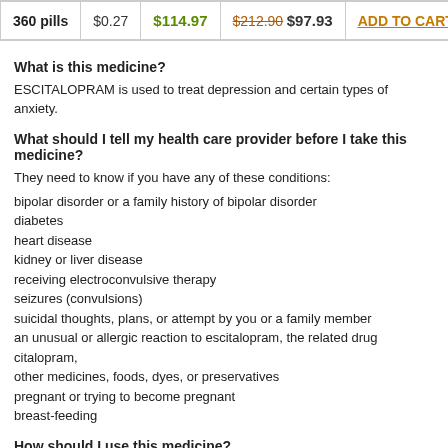| Quantity | Per pill | Price | Savings/Total | Action |
| --- | --- | --- | --- | --- |
| 360 pills | $0.27 | $114.97 | $212.90 $97.93 | ADD TO CART |
What is this medicine?
ESCITALOPRAM is used to treat depression and certain types of anxiety.
What should I tell my health care provider before I take this medicine?
They need to know if you have any of these conditions:
bipolar disorder or a family history of bipolar disorder
diabetes
heart disease
kidney or liver disease
receiving electroconvulsive therapy
seizures (convulsions)
suicidal thoughts, plans, or attempt by you or a family member
an unusual or allergic reaction to escitalopram, the related drug citalopram, other medicines, foods, dyes, or preservatives
pregnant or trying to become pregnant
breast-feeding
How should I use this medicine?